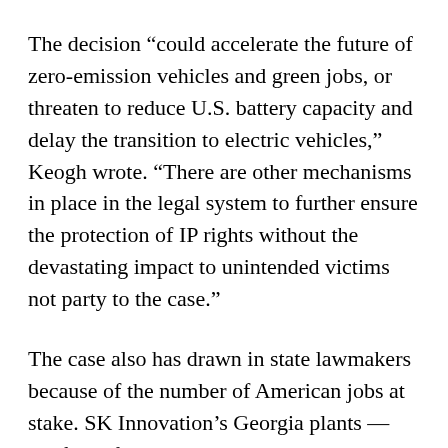The decision “could accelerate the future of zero-emission vehicles and green jobs, or threaten to reduce U.S. battery capacity and delay the transition to electric vehicles,” Keogh wrote. “There are other mechanisms in place in the legal system to further ensure the protection of IP rights without the devastating impact to unintended victims not party to the case.”
The case also has drawn in state lawmakers because of the number of American jobs at stake. SK Innovation’s Georgia plants — the first of which is due to start commercial